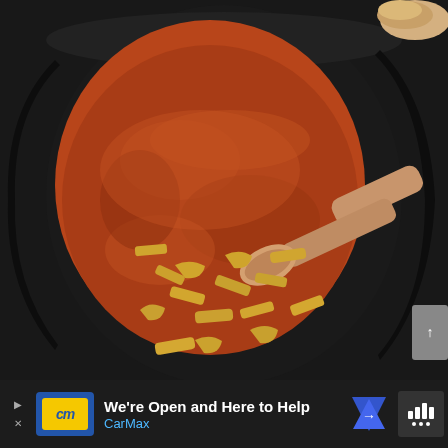[Figure (photo): Close-up photo of a black slow cooker (crock pot) filled with thick reddish-brown tomato-based soup/chili topped with small golden fried tortilla chip strips. A wooden spoon is resting in the pot. Bread or rolls are visible in the upper right corner.]
[Figure (other): Advertisement banner for CarMax at the bottom of the page. Shows CarMax logo (yellow 'cm' on blue background), text 'We're Open and Here to Help' and 'CarMax', a blue navigation arrow icon, and a signal/bars icon on the right.]